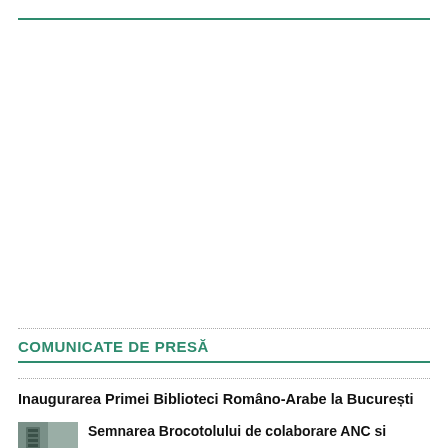COMUNICATE DE PRESĂ
Inaugurarea Primei Biblioteci Româno-Arabe la București
Semnarea Brocotolului de colaborare ANC si